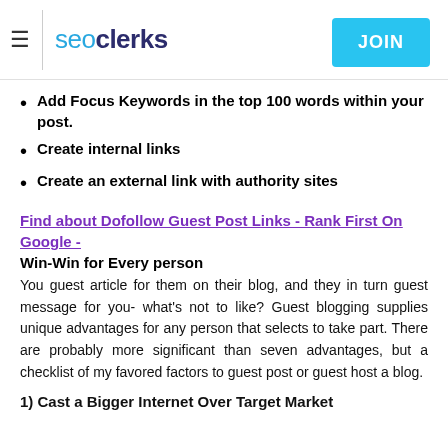seoclerks | JOIN
Add Focus Keywords in the top 100 words within your post.
Create internal links
Create an external link with authority sites
Find about Dofollow Guest Post Links - Rank First On Google -
Win-Win for Every person
You guest article for them on their blog, and they in turn guest message for you- what's not to like? Guest blogging supplies unique advantages for any person that selects to take part. There are probably more significant than seven advantages, but a checklist of my favored factors to guest post or guest host a blog.
1) Cast a Bigger Internet Over Target Market